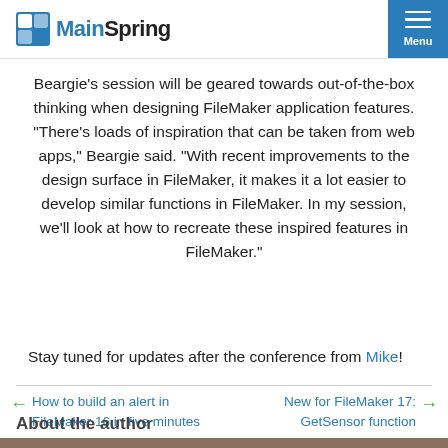MainSpring | Menu
Beargie's session will be geared towards out-of-the-box thinking when designing FileMaker application features. “There’s loads of inspiration that can be taken from web apps,” Beargie said. “With recent improvements to the design surface in FileMaker, it makes it a lot easier to develop similar functions in FileMaker. In my session, we’ll look at how to recreate these inspired features in FileMaker.”
Stay tuned for updates after the conference from Mike!
← How to build an alert in FileMaker 16 in five minutes
New for FileMaker 17: GetSensor function →
About the author
[Figure (photo): Photo strip of the author at bottom of page]